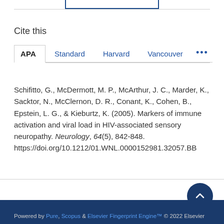Cite this
APA   Standard   Harvard   Vancouver   ...
Schifitto, G., McDermott, M. P., McArthur, J. C., Marder, K., Sacktor, N., McClernon, D. R., Conant, K., Cohen, B., Epstein, L. G., & Kieburtz, K. (2005). Markers of immune activation and viral load in HIV-associated sensory neuropathy. Neurology, 64(5), 842-848. https://doi.org/10.1212/01.WNL.0000152981.32057.BB
Powered by Pure, Scopus & Elsevier Fingerprint Engine™ © 2022 Elsevier